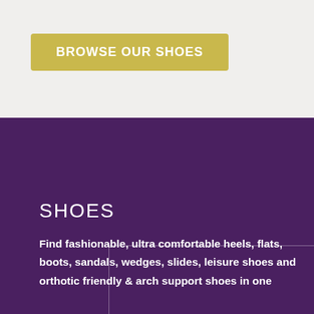BROWSE OUR SHOES
[Figure (illustration): Purple rectangular image placeholder with thin white border outline on a dark purple background]
SHOES
Find fashionable, ultra comfortable heels, flats, boots, sandals, wedges, slides, leisure shoes and orthotic friendly & arch support shoes in one